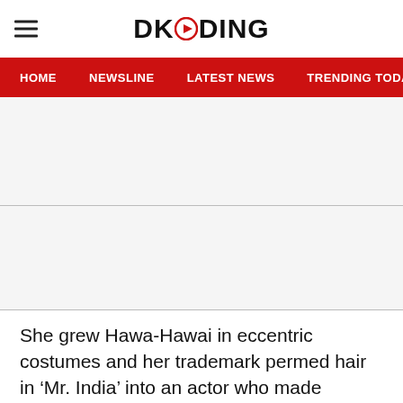DKODING
HOME   NEWSLINE   LATEST NEWS   TRENDING TODAY   ENT
[Figure (other): Advertisement placeholder area (top)]
[Figure (other): Advertisement placeholder area (middle)]
She grew Hawa-Hawai in eccentric costumes and her trademark permed hair in ‘Mr. India’ into an actor who made praiseworthy fashion choices until the day she died (while